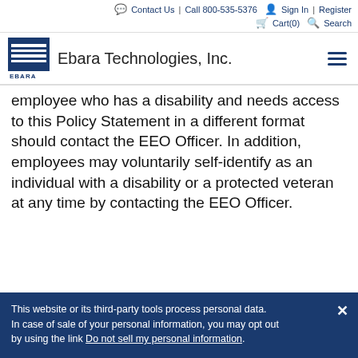Contact Us | Call 800-535-5376 | Sign In | Register | Cart(0) | Search
[Figure (logo): Ebara Technologies, Inc. company logo with blue horizontal lines and EBARA text]
employee who has a disability and needs access to this Policy Statement in a different format should contact the EEO Officer. In addition, employees may voluntarily self-identify as an individual with a disability or a protected veteran at any time by contacting the EEO Officer.
This website or its third-party tools process personal data. In case of sale of your personal information, you may opt out by using the link Do not sell my personal information.